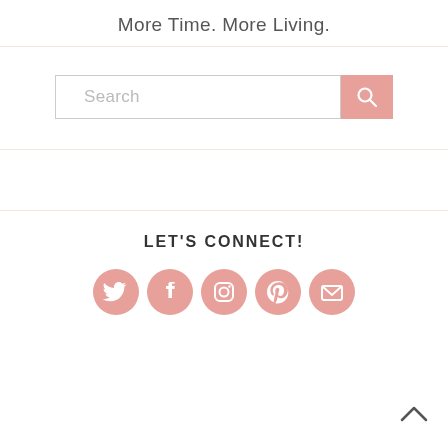More Time. More Living.
[Figure (other): Search bar with pink search button containing magnifying glass icon]
LET'S CONNECT!
[Figure (other): Row of five pink circular social media icons: Twitter, Facebook, Instagram, Pinterest, Email/Bloglovin]
[Figure (other): Back to top arrow chevron button at bottom right]